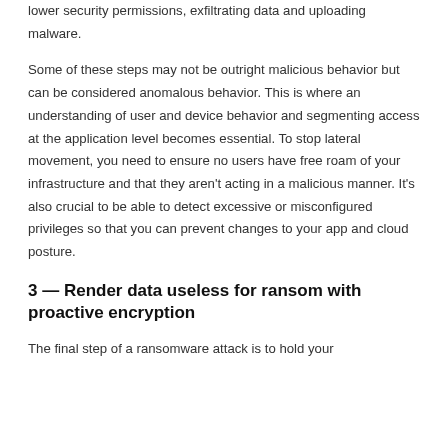lower security permissions, exfiltrating data and uploading malware.
Some of these steps may not be outright malicious behavior but can be considered anomalous behavior. This is where an understanding of user and device behavior and segmenting access at the application level becomes essential. To stop lateral movement, you need to ensure no users have free roam of your infrastructure and that they aren’t acting in a malicious manner. It’s also crucial to be able to detect excessive or misconfigured privileges so that you can prevent changes to your app and cloud posture.
3 — Render data useless for ransom with proactive encryption
The final step of a ransomware attack is to hold your